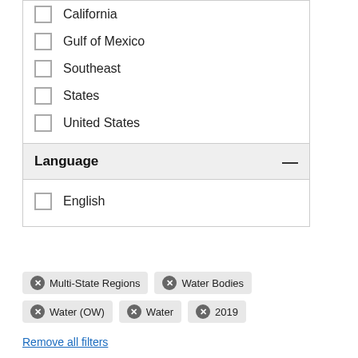California
Gulf of Mexico
Southeast
States
United States
Language
English
× Multi-State Regions  × Water Bodies  × Water (OW)  × Water  × 2019
Remove all filters